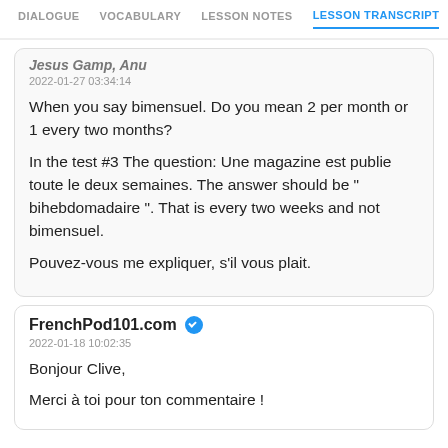DIALOGUE | VOCABULARY | LESSON NOTES | LESSON TRANSCRIPT
Jesus Gamp, Anu
2022-01-27 03:34:14

When you say bimensuel. Do you mean 2 per month or 1 every two months?

In the test #3 The question: Une magazine est publie toute le deux semaines. The answer should be " bihebdomadaire ". That is every two weeks and not bimensuel.

Pouvez-vous me expliquer, s'il vous plait.
FrenchPod101.com
2022-01-18 10:02:35

Bonjour Clive,

Merci à toi pour ton commentaire !